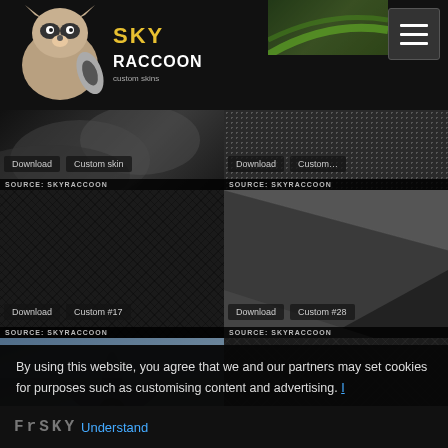SkyRaccoon
[Figure (screenshot): SkyRaccoon website header with raccoon logo and hamburger menu button]
[Figure (photo): Row 1 left: dark smoke/cloudy texture with Download and Custom skin buttons, SOURCE: SKYRACCOON label]
[Figure (photo): Row 1 right: dark metallic mesh grid texture with Download and Custom skin buttons, SOURCE: SKYRACCOON label]
[Figure (photo): Row 2 left: red carbon fiber texture with Download and Custom #17 buttons, SOURCE: SKYRACCOON label]
[Figure (photo): Row 2 right: dark angular metallic texture with Download and Custom #28 buttons, SOURCE: SKYRACCOON label]
[Figure (photo): Row 3 left: airplane propeller close-up photo with Download and Custom #200 buttons, SOURCE: SKYRACCOON label]
[Figure (photo): Row 3 right: dark carbon texture with Download and Custom #26 buttons, SOURCE: SKYRACCOON label]
By using this website, you agree that we and our partners may set cookies for purposes such as customising content and advertising.
FrSky  Understand